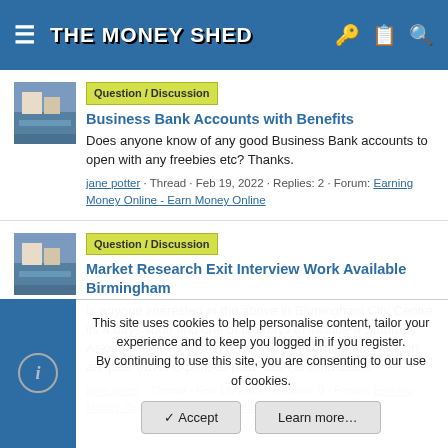THE MONEY SHED
Question / Discussion | Business Bank Accounts with Benefits
Does anyone know of any good Business Bank accounts to open with any freebies etc? Thanks.
jane potter · Thread · Feb 19, 2022 · Replies: 2 · Forum: Earning Money Online - Earn Money Online
Question / Discussion | Market Research Exit Interview Work Available Birmingham
Is anyone interested in the above in Birmingham City Centre its 4 days soon and one of the days to include a Saturday. Asking exit questions in a store and recording answers on an Ipad. travel expenses paid. Start around 10am.
jane potter · Thread · Feb 19, 2022 · Replies: 0 · Forum: Earning Money Online - Earn Money Online
This site uses cookies to help personalise content, tailor your experience and to keep you logged in if you register.
By continuing to use this site, you are consenting to our use of cookies.